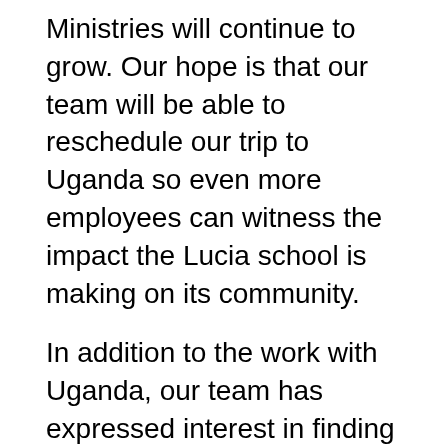Ministries will continue to grow. Our hope is that our team will be able to reschedule our trip to Uganda so even more employees can witness the impact the Lucia school is making on its community.
In addition to the work with Uganda, our team has expressed interest in finding more opportunities to serve within our local communities. We recently launched a project with Habitat for Humanity (stay tuned for more details!), building houses for people right here in our local South Dakota communities.
“From my perspective, the work in Uganda or with Habitat just reinforces the values that they have,” said Swanson. “Employees that show interest, they get joy and they look outside themselves. You can’t change someone’s heart if they’re selfish, but if you find opportunities for them to step outside themselves, they’ll be way more motivated. They